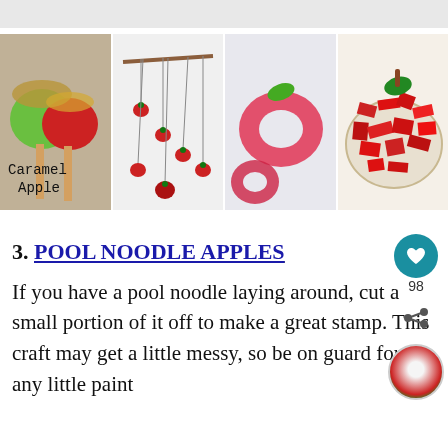[Figure (photo): Collage of four apple craft photos: caramel apple craft sticks, hanging apple mobile, apple stamp prints, and torn paper plate apple]
3. POOL NOODLE APPLES
If you have a pool noodle laying around, cut a small portion of it off to make a great stamp. This craft may get a little messy, so be on guard for any little paint